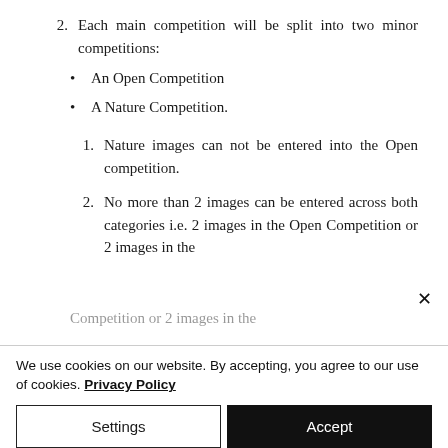2. Each main competition will be split into two minor competitions:
• An Open Competition
• A Nature Competition.
1. Nature images can not be entered into the Open competition.
2. No more than 2 images can be entered across both categories i.e. 2 images in the Open Competition or 2 images in the
We use cookies on our website. By accepting, you agree to our use of cookies. Privacy Policy
Settings | Accept